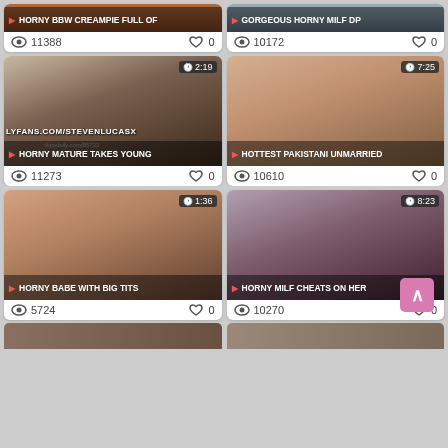[Figure (screenshot): Video thumbnail grid showing adult video content listings with thumbnails, titles, view counts and like counts]
HORNY BBW CREAMPIE FULL OF — 11388 views, 0 likes
GORGEOUS HORNY MILF DP — 10172 views, 0 likes
HORNY MATURE TAKES YOUNG — 11273 views, 0 likes, duration 2:19
HOTTEST PAKISTANI UNMARRIED — 10610 views, 0 likes, duration 7:25
HORNY BABE WITH BIG TITS — 5724 views, 0 likes, duration 1:36
HORNY MILF CHEATS ON HER — 10270 views, 0 likes, duration 8:23